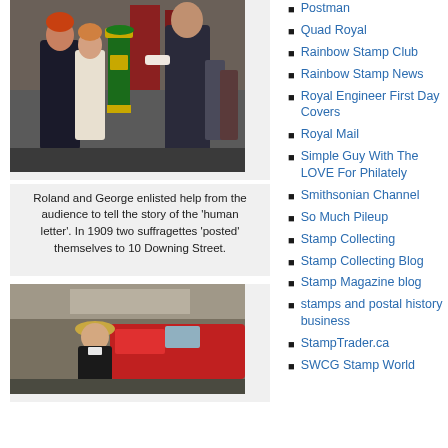[Figure (photo): Roland and George with audience members around a vintage green pillar box in a postal facility or warehouse.]
Roland and George enlisted help from the audience to tell the story of the 'human letter'. In 1909 two suffragettes 'posted' themselves to 10 Downing Street.
[Figure (photo): A person wearing a hat standing in front of what appears to be a red postal vehicle in a facility.]
Postman
Quad Royal
Rainbow Stamp Club
Rainbow Stamp News
Royal Engineer First Day Covers
Royal Mail
Simple Guy With The LOVE For Philately
Smithsonian Channel
So Much Pileup
Stamp Collecting
Stamp Collecting Blog
Stamp Magazine blog
stamps and postal history business
StampTrader.ca
SWCG Stamp World